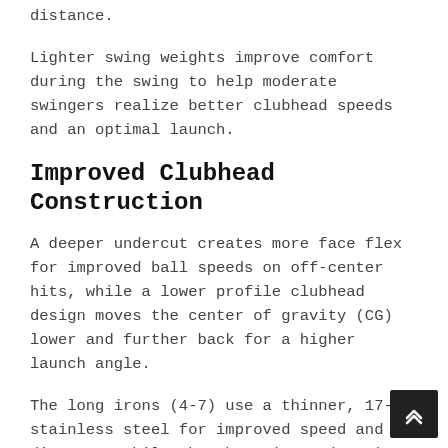distance.
Lighter swing weights improve comfort during the swing to help moderate swingers realize better clubhead speeds and an optimal launch.
Improved Clubhead Construction
A deeper undercut creates more face flex for improved ball speeds on off-center hits, while a lower profile clubhead design moves the center of gravity (CG) lower and further back for a higher launch angle.
The long irons (4-7) use a thinner, 17-4 stainless steel for improved speed and distance, while the short irons (8-SW) use a softer 431 stainless steel for soft feel and precision.
The irons are nickel chrome plated, improving